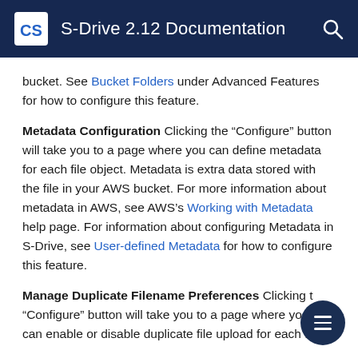S-Drive 2.12 Documentation
bucket. See Bucket Folders under Advanced Features for how to configure this feature.
Metadata Configuration Clicking the “Configure” button will take you to a page where you can define metadata for each file object. Metadata is extra data stored with the file in your AWS bucket. For more information about metadata in AWS, see AWS’s Working with Metadata help page. For information about configuring Metadata in S-Drive, see User-defined Metadata for how to configure this feature.
Manage Duplicate Filename Preferences Clicking the “Configure” button will take you to a page where you can enable or disable duplicate file upload for each file